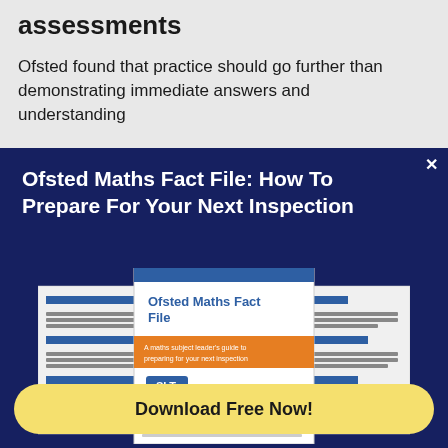assessments
Ofsted found that practice should go further than demonstrating immediate answers and understanding
X
Ofsted Maths Fact File: How To Prepare For Your Next Inspection
[Figure (illustration): Three overlapping document pages showing the Ofsted Maths Fact File cover with blue headers, an orange banner, and SLT label]
Make sure you're as prepared as can be for your next Ofsted inspection with this free fact file.
Download Free Now!